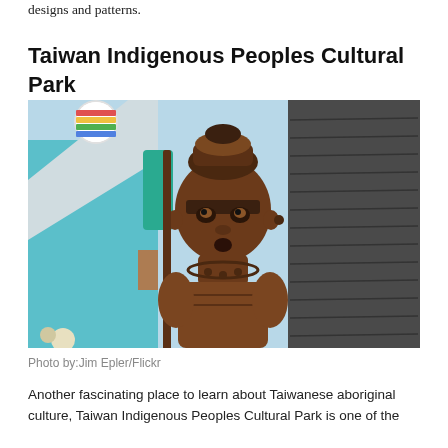designs and patterns.
Taiwan Indigenous Peoples Cultural Park
[Figure (photo): A wooden carved statue of an indigenous Taiwanese figure wearing traditional headdress and necklace, holding a staff, with colorful decorations and stone wall in background. Photo by Jim Epler/Flickr.]
Photo by:Jim Epler/Flickr
Another fascinating place to learn about Taiwanese aboriginal culture, Taiwan Indigenous Peoples Cultural Park is one of the